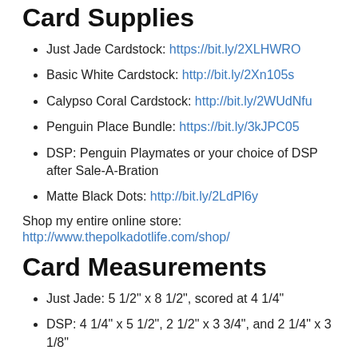Card Supplies
Just Jade Cardstock: https://bit.ly/2XLHWRO
Basic White Cardstock: http://bit.ly/2Xn105s
Calypso Coral Cardstock: http://bit.ly/2WUdNfu
Penguin Place Bundle: https://bit.ly/3kJPC05
DSP: Penguin Playmates or your choice of DSP after Sale-A-Bration
Matte Black Dots: http://bit.ly/2LdPl6y
Shop my entire online store:
http://www.thepolkadotlife.com/shop/
Card Measurements
Just Jade: 5 1/2" x 8 1/2", scored at 4 1/4"
DSP: 4 1/4" x 5 1/2", 2 1/2" x 3 3/4", and 2 1/4" x 3 1/8"
Basic White: 1 7/8" x 1 7/8"